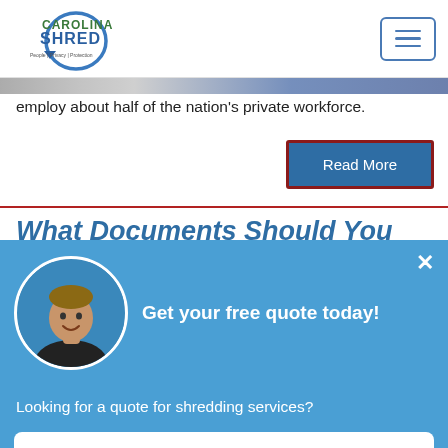[Figure (logo): Carolina Shred logo with circular arrow and tagline 'People | Privacy | Protection']
employ about half of the nation's private workforce.
Read More
What Documents Should You
[Figure (photo): Man in black shirt smiling, headshot in circular frame]
Get your free quote today!
Looking for a quote for shredding services?
Start now